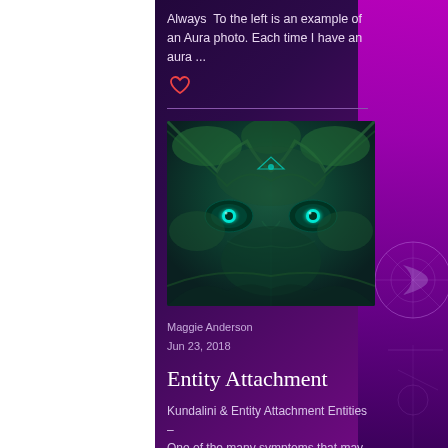Always  To the left is an example of an Aura photo. Each time I have an aura ...
[Figure (illustration): Symmetrical face made of tree branches and glowing teal eyes, surreal nature-face composite image]
Maggie Anderson
Jun 23, 2018
Entity Attachment
Kundalini & Entity Attachment Entities – One of the many symptoms that may